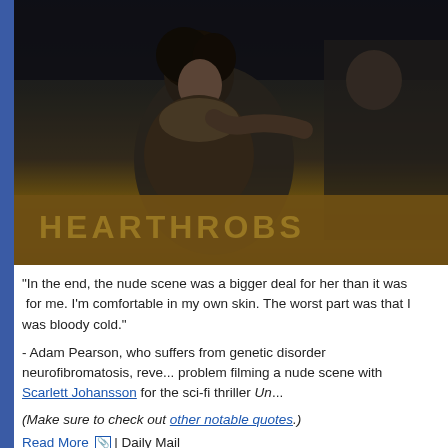[Figure (photo): Dark film still showing two people, one with curly dark hair in a fur-collared jacket, in what appears to be a scene from a movie. Background shows text 'HEARTHROBS' or similar.]
"In the end, the nude scene was a bigger deal for her than it was for me. I'm comfortable in my own skin. The worst part was that I was bloody cold."
- Adam Pearson, who suffers from genetic disorder neurofibromatosis, revealing he had no problem filming a nude scene with Scarlett Johansson for the sci-fi thriller Un...
(Make sure to check out other notable quotes.)
Read More | Daily Mail
Tools: Permalink | Share on Twitter | Share on Facebook | Comments (0) | Email th...